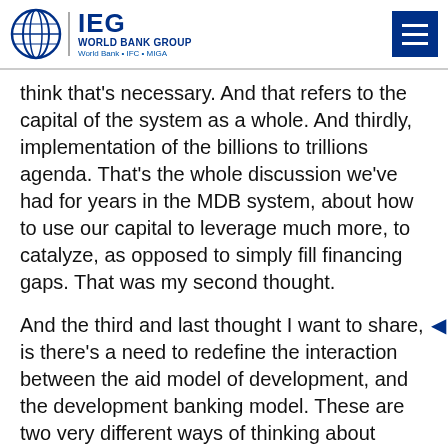IEG World Bank Group
think that's necessary. And that refers to the capital of the system as a whole. And thirdly, implementation of the billions to trillions agenda. That's the whole discussion we've had for years in the MDB system, about how to use our capital to leverage much more, to catalyze, as opposed to simply fill financing gaps. That was my second thought.
And the third and last thought I want to share, is there's a need to redefine the interaction between the aid model of development, and the development banking model. These are two very different ways of thinking about development.